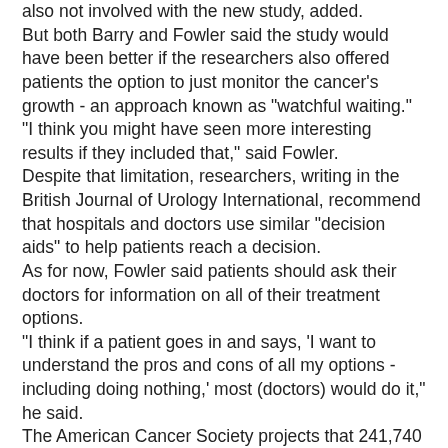also not involved with the new study, added.
But both Barry and Fowler said the study would have been better if the researchers also offered patients the option to just monitor the cancer's growth - an approach known as "watchful waiting."
"I think you might have seen more interesting results if they included that," said Fowler.
Despite that limitation, researchers, writing in the British Journal of Urology International, recommend that hospitals and doctors use similar "decision aids" to help patients reach a decision.
As for now, Fowler said patients should ask their doctors for information on all of their treatment options.
"I think if a patient goes in and says, 'I want to understand the pros and cons of all my options - including doing nothing,' most (doctors) would do it," he said.
The American Cancer Society projects that 241,740 men will be diagnosed with prostate cancer in 2012, and 28,170 will die from it.
SOURCE: http://bit.ly/POeCfb British Journal of Urology International, online August 10, 2012.
Reuters Health